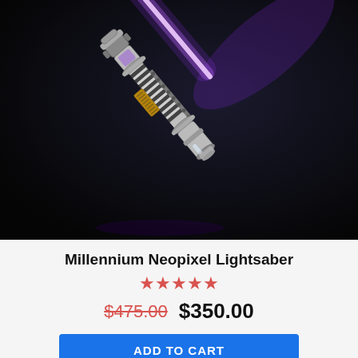[Figure (photo): A Millennium Neopixel Lightsaber photographed against a dark black background. The lightsaber hilt is silver/chrome with black and white spiral grip wrapping, gold accent details, and a glowing purple blade extending to the upper right.]
Millennium Neopixel Lightsaber
★★★★★
$475.00  $350.00
ADD TO CART